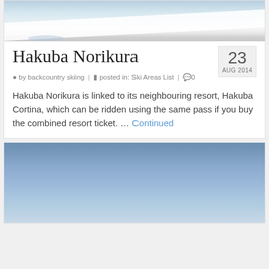[Figure (photo): Ski slope photo showing skiers on a snowy mountain, cropped at top]
Hakuba Norikura
23 AUG 2014
by backcountry skiing | posted in: Ski Areas List | 0
Hakuba Norikura is linked to its neighbouring resort, Hakuba Cortina, which can be ridden using the same pass if you buy the combined resort ticket. … Continued
[Figure (photo): Blue sky photo, partially visible at bottom of page]